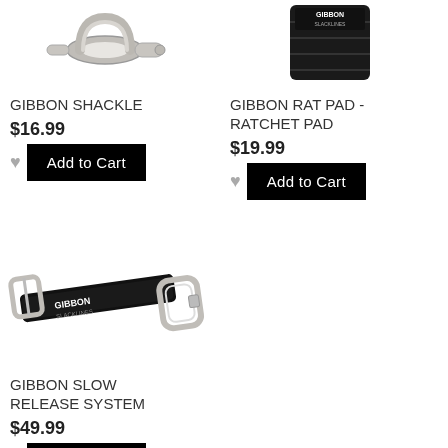[Figure (photo): Gibbon Shackle product photo – metal shackle hardware]
GIBBON SHACKLE
$16.99
[Figure (photo): Gibbon Rat Pad / Ratchet Pad product photo – black padded cover with Gibbon Slacklines logo]
GIBBON RAT PAD - RATCHET PAD
$19.99
[Figure (photo): Gibbon Slow Release System product photo – black strap with carabiner and Gibbon Slacklines logo]
GIBBON SLOW RELEASE SYSTEM
$49.99